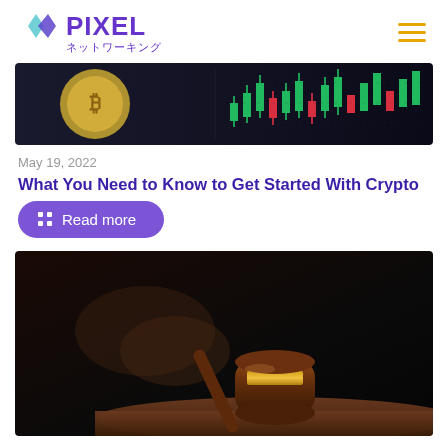PIXEL ネットワーキング
[Figure (photo): Cryptocurrency coin and trading chart background image showing Bitcoin coin and candlestick chart]
May 19, 2022
What You Need to Know to Get Started With Crypto
Read more
[Figure (photo): Judge's gavel on wooden surface with hand holding gavel in background, dark background]